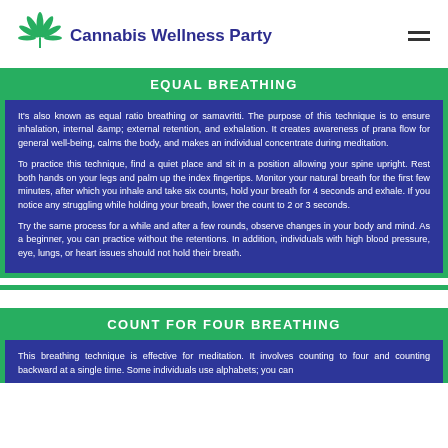Cannabis Wellness Party
EQUAL BREATHING
It's also known as equal ratio breathing or samavritti. The purpose of this technique is to ensure inhalation, internal &amp; external retention, and exhalation. It creates awareness of prana flow for general well-being, calms the body, and makes an individual concentrate during meditation.
To practice this technique, find a quiet place and sit in a position allowing your spine upright. Rest both hands on your legs and palm up the index fingertips. Monitor your natural breath for the first few minutes, after which you inhale and take six counts, hold your breath for 4 seconds and exhale. If you notice any struggling while holding your breath, lower the count to 2 or 3 seconds.
Try the same process for a while and after a few rounds, observe changes in your body and mind. As a beginner, you can practice without the retentions. In addition, individuals with high blood pressure, eye, lungs, or heart issues should not hold their breath.
COUNT FOR FOUR BREATHING
This breathing technique is effective for meditation. It involves counting to four and counting backward at a single time. Some individuals use alphabets; you can